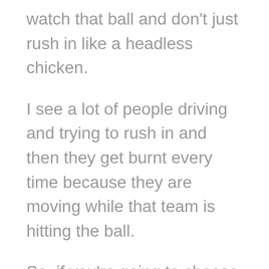watch that ball and don't just rush in like a headless chicken.
I see a lot of people driving and trying to rush in and then they get burnt every time because they are moving while that team is hitting the ball.
So, if you're going to choose to drive that third shot you kind of split step and watch it with your partner and see where that ball is going to be placed and then react to it depending on what kind of shot they hit.